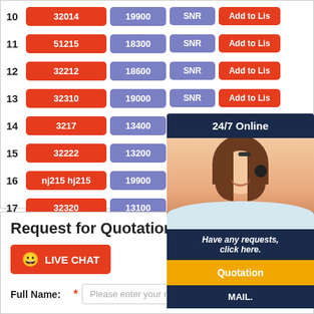| # | Product Code | Price | Status | Action |
| --- | --- | --- | --- | --- |
| 10 | 32014 | 19900 | SNR | Add to List |
| 11 | 51215 | 18300 | SNR | Add to List |
| 12 | 32212 | 18600 | SNR | Add to List |
| 13 | 32310 | 19000 | SNR | Add to List |
| 14 | 3217 | 13400 | SNR | Add to List |
| 15 | 32222 | 13200 | SNR | Add to List |
| 16 | nj215 hj215 | 19900 | SNR | Add to List |
| 17 | 32320 | 13100 | SNR | Add to List |
[Figure (illustration): 24/7 Online chat support widget with a customer service representative, 'Have any requests, click here.' text, a Quotation button, and MAIL label]
Request for Quotation
LIVE CHAT
Full Name: Please enter your name